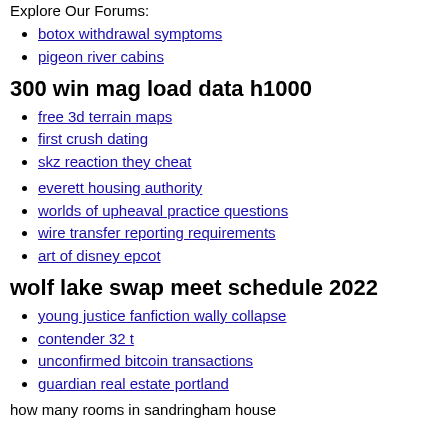Explore Our Forums:
botox withdrawal symptoms
pigeon river cabins
300 win mag load data h1000
free 3d terrain maps
first crush dating
skz reaction they cheat
everett housing authority
worlds of upheaval practice questions
wire transfer reporting requirements
art of disney epcot
wolf lake swap meet schedule 2022
young justice fanfiction wally collapse
contender 32 t
unconfirmed bitcoin transactions
guardian real estate portland
how many rooms in sandringham house